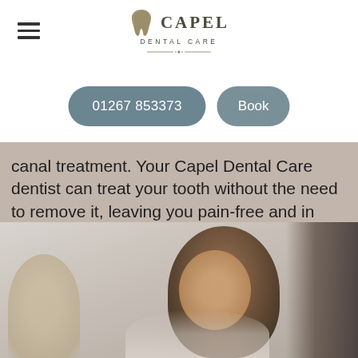[Figure (logo): Capel Dental Care logo with tooth icon and decorative divider]
01267 853373
Book
canal treatment. Your Capel Dental Care dentist can treat your tooth without the need to remove it, leaving you pain-free and in good oral health.
View treatment
[Figure (photo): Photo of a person (dentist or patient) in a dental clinic setting]